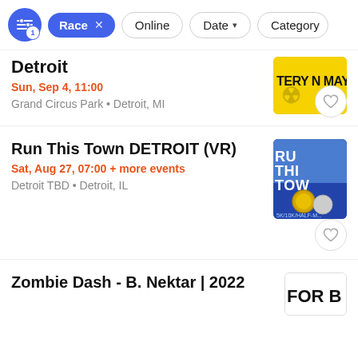Race × | Online | Date ▾ | Category
Detroit
Sun, Sep 4, 11:00
Grand Circus Park • Detroit, MI
Run This Town DETROIT (VR)
Sat, Aug 27, 07:00 + more events
Detroit TBD • Detroit, IL
Zombie Dash - B. Nektar | 2022